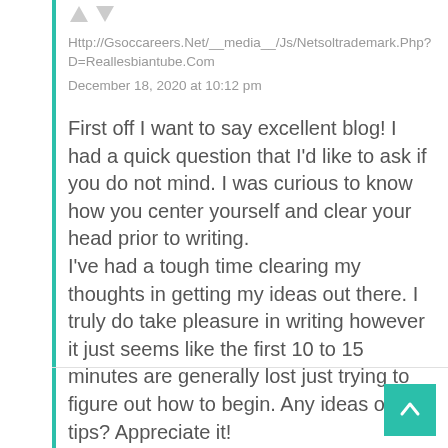Http://Gsoccareers.Net/__media__/Js/Netsoltrademark.Php?D=Reallesbiantube.Com
December 18, 2020 at 10:12 pm
First off I want to say excellent blog! I had a quick question that I'd like to ask if you do not mind. I was curious to know how you center yourself and clear your head prior to writing. I've had a tough time clearing my thoughts in getting my ideas out there. I truly do take pleasure in writing however it just seems like the first 10 to 15 minutes are generally lost just trying to figure out how to begin. Any ideas or tips? Appreciate it!